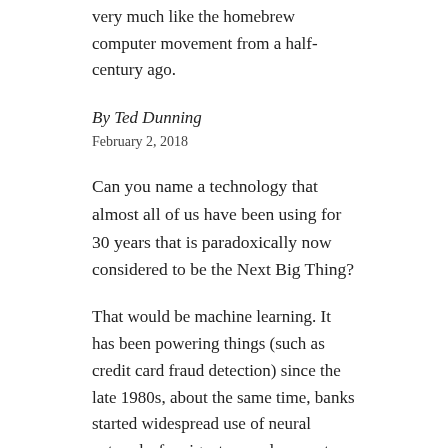very much like the homebrew computer movement from a half-century ago.
By Ted Dunning
February 2, 2018
Can you name a technology that almost all of us have been using for 30 years that is paradoxically now considered to be the Next Big Thing?
That would be machine learning. It has been powering things (such as credit card fraud detection) since the late 1980s, about the same time, banks started widespread use of neural networks for signature and amount verification on checks.
Machine learning has been around a long time, even in very widely used applications. That said,